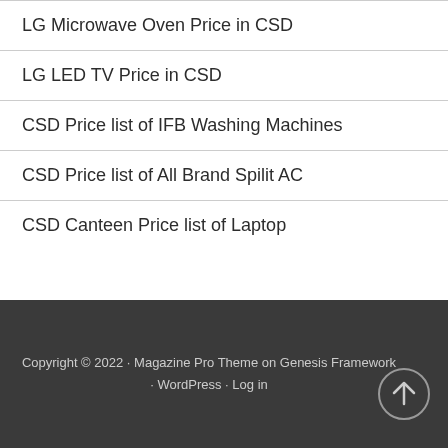LG Microwave Oven Price in CSD
LG LED TV Price in CSD
CSD Price list of IFB Washing Machines
CSD Price list of All Brand Spilit AC
CSD Canteen Price list of Laptop
Copyright © 2022 · Magazine Pro Theme on Genesis Framework · WordPress · Log in